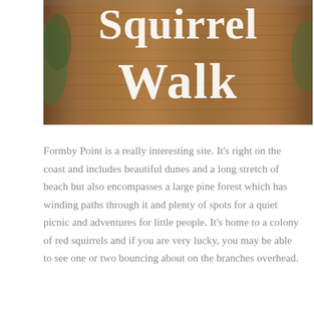[Figure (photo): A wooden sign with white carved text reading 'Squirrel Walk', set against a wood-grain background with green foliage visible at the edges.]
Formby Point is a really interesting site. It's right on the coast and includes beautiful dunes and a long stretch of beach but also encompasses a large pine forest which has winding paths through it and plenty of spots for a quiet picnic and adventures for little people. It's home to a colony of red squirrels and if you are very lucky, you may be able to see one or two bouncing about on the branches overhead.